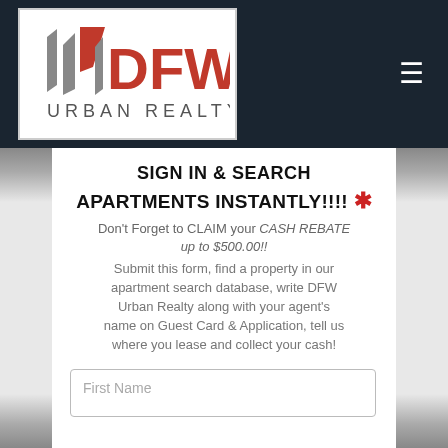[Figure (logo): DFW Urban Realty logo with stylized flag/banner icons in red and gray on white background]
SIGN IN & SEARCH APARTMENTS INSTANTLY!!!! *
Don't Forget to CLAIM your CASH REBATE up to $500.00!!
Submit this form, find a property in our apartment search database, write DFW Urban Realty along with your agent's name on Guest Card & Application, tell us where you lease and collect your cash!
First Name